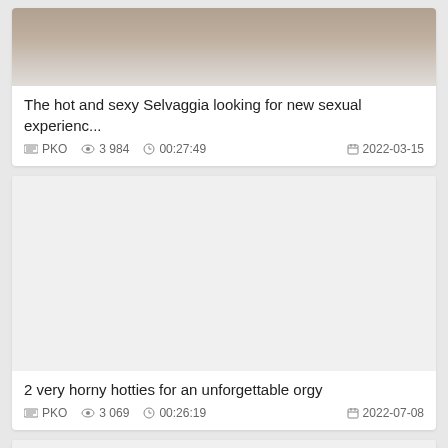[Figure (photo): Partial view of a person, top cropped, thumbnail for first video card]
The hot and sexy Selvaggia looking for new sexual experienc...
PKO  3 984  00:27:49  2022-03-15
[Figure (photo): White/blank thumbnail placeholder for second video card]
2 very horny hotties for an unforgettable orgy
PKO  3 069  00:26:19  2022-07-08
[Figure (photo): White/blank thumbnail placeholder for third video card (partially visible)]